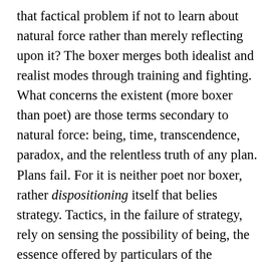that factical problem if not to learn about natural force rather than merely reflecting upon it? The boxer merges both idealist and realist modes through training and fighting. What concerns the existent (more boxer than poet) are those terms secondary to natural force: being, time, transcendence, paradox, and the relentless truth of any plan. Plans fail. For it is neither poet nor boxer, rather dispositioning itself that belies strategy. Tactics, in the failure of strategy, rely on sensing the possibility of being, the essence offered by particulars of the moment. Superior to the academe is the boxer-poet, that the body of the academe is more or less the body of an administrator, more a minister, a priest of some sort, that fatherly, or paternal figure of the trainer. A boxer is not an administrator, a boxer knows far better what it means to think in a depersonalized way.